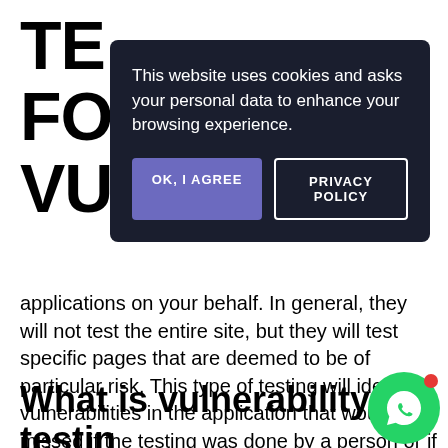TE FO VU
[Figure (screenshot): Cookie consent banner with dark background. Text: 'This website uses cookies and asks your personal data to enhance your browsing experience.' Two buttons: 'OK, I AGREE' (purple) and 'PRIVACY POLICY' (outlined).]
applications on your behalf. In general, they will not test the entire site, but they will test specific pages that are deemed to be of particular risk. This type of testing will identify vulnerabilities in the application that would be missed if the testing was done by a person or if the testing was done by someone who did not have the necessary skills.
What is vulnerability testin
Vulnerability testing is the process of trying to find